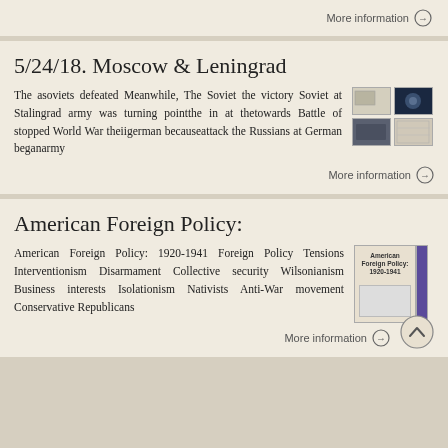More information →
5/24/18. Moscow & Leningrad
The asoviets defeated Meanwhile, The Soviet the victory Soviet at Stalingrad army was turning pointthe in at thetowards Battle of stopped World War theiigerman becauseattack the Russians at German beganarmy
More information →
American Foreign Policy:
American Foreign Policy: 1920-1941 Foreign Policy Tensions Interventionism Disarmament Collective security Wilsonianism Business interests Isolationism Nativists Anti-War movement Conservative Republicans
More information →